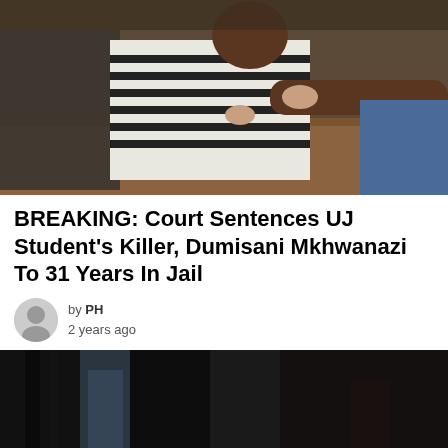[Figure (photo): A man in a black and white striped shirt being restrained by people in a courtroom setting, with wooden court benches visible.]
BREAKING: Court Sentences UJ Student's Killer, Dumisani Mkhwanazi To 31 Years In Jail
by PH
2 years ago
[Figure (photo): Yellow SA Police Service crime scene tape stretched across a burned or darkened building entrance.]